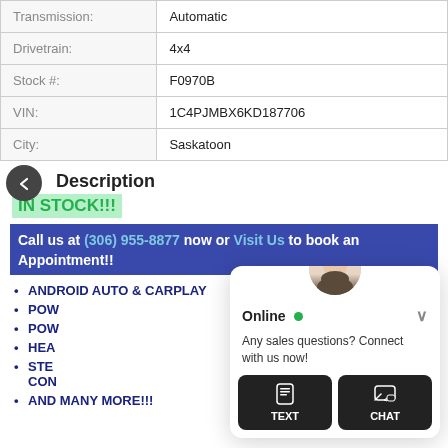| Field | Value |
| --- | --- |
| Transmission: | Automatic |
| Drivetrain: | 4x4 |
| Stock #: | F0970B |
| VIN: | 1C4PJMBX6KD187706 |
| City: | Saskatoon |
Description
IN STOCK!!!
Call us at (306) 955-8877 now or Visit Us to book an Appointment!!
ANDROID AUTO & CARPLAY
POW...
POW...
HEA...
STE... CON...
AND MANY MORE!!!
[Figure (screenshot): Chat widget overlay with Online status, message 'Any sales questions? Connect with us now!', and TEXT/CHAT buttons. Agent avatar shown above widget.]